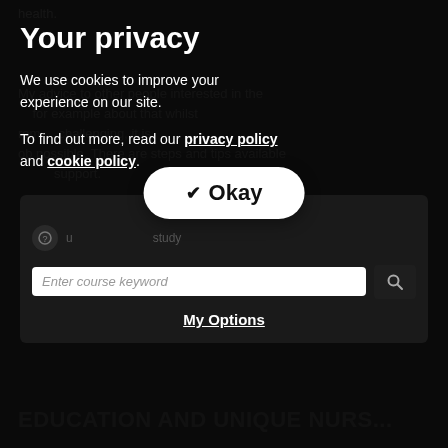health.
My advice to other people interested in the ... for example about that whilst learning ... challenging, it is ... there are steps and tips available ... support.
Your privacy
We use cookies to improve your experience on our site.
To find out more, read our privacy policy and cookie policy.
Enter course keyword
Okay
My Options
EDUCATION AND UNIQUE NURS...